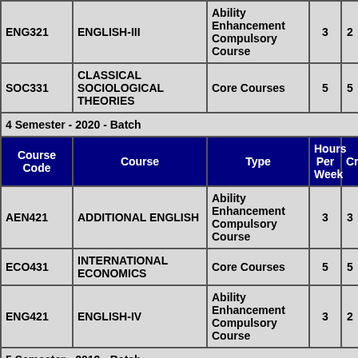| Course Code | Course | Type | Hours Per Week | Credits |
| --- | --- | --- | --- | --- |
| ENG321 | ENGLISH-III | Ability Enhancement Compulsory Course | 3 | 2 |
| SOC331 | CLASSICAL SOCIOLOGICAL THEORIES | Core Courses | 5 | 5 |
| 4 Semester - 2020 - Batch |  |  |  |  |
| Course Code | Course | Type | Hours Per Week | Credits |
| AEN421 | ADDITIONAL ENGLISH | Ability Enhancement Compulsory Course | 3 | 3 |
| ECO431 | INTERNATIONAL ECONOMICS | Core Courses | 5 | 5 |
| ENG421 | ENGLISH-IV | Ability Enhancement Compulsory Course | 3 | 2 |
| 5 Semester - 2019 - Batch |  |  |  |  |